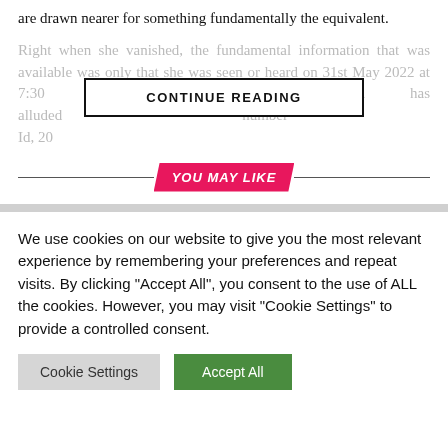are drawn nearer for something fundamentally the equivalent.
Right when she vanished, the fundamental information that was available was only that she was seen or heard on 31st May 2022 at 7:30 am. Additionally, her dad has alluded [faded text with CONTINUE READING button overlay] number [...]
YOU MAY LIKE
We use cookies on our website to give you the most relevant experience by remembering your preferences and repeat visits. By clicking "Accept All", you consent to the use of ALL the cookies. However, you may visit "Cookie Settings" to provide a controlled consent.